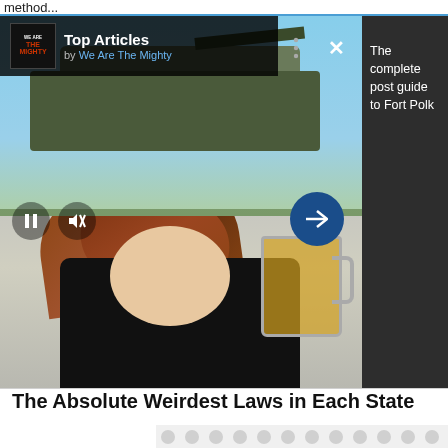method...
[Figure (screenshot): Top Articles widget showing We Are The Mighty logo, military soldiers standing in front of armored vehicle, with pause/mute controls and arrow navigation button, alongside dark right panel with text 'The complete post guide to Fort Polk']
Top Articles
by We Are The Mighty
The Absolute Weirdest Laws in Each State
[Figure (photo): Advertisement with repeating circular dot pattern on light gray background]